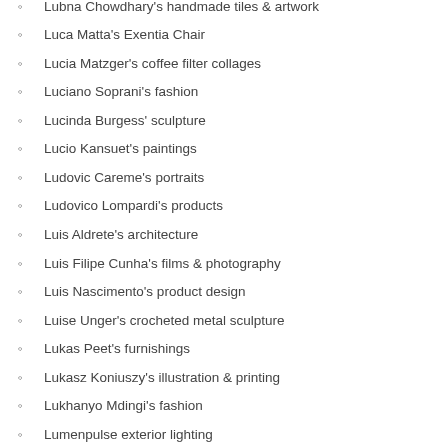Lubna Chowdhary's handmade tiles & artwork
Luca Matta's Exentia Chair
Lucia Matzger's coffee filter collages
Luciano Soprani's fashion
Lucinda Burgess' sculpture
Lucio Kansuet's paintings
Ludovic Careme's portraits
Ludovico Lompardi's products
Luis Aldrete's architecture
Luis Filipe Cunha's films & photography
Luis Nascimento's product design
Luise Unger's crocheted metal sculpture
Lukas Peet's furnishings
Lukasz Koniuszy's illustration & printing
Lukhanyo Mdingi's fashion
Lumenpulse exterior lighting